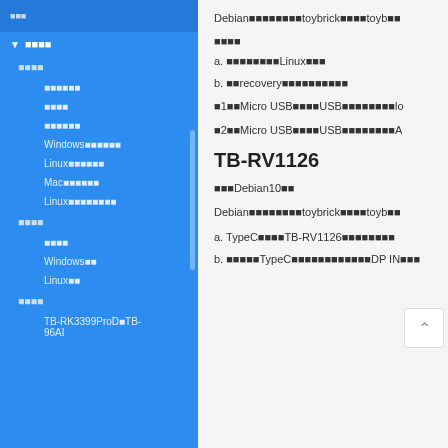■■■
▼ ■■■■
■■■■
■■■■■■
■■■■
■■■■■■
Windows■■■■■■
Linux■■■■■■
Mac■■■■■■
Linux■■■■■■■■
■■■■
■■■■
Windows■■
Linux■■
■■■■
TB-RK3399ProD■TB-96AI
Debian■■■■■■■■toybrick■■■■toyb■■
■■■■
a. ■■■■■■■■Linux■■■
b. ■■recovery■■■■■■■■■■
■1■■Micro USB■■■■USB■■■■■■■■lo
■2■■Micro USB■■■■USB■■■■■■■■A
TB-RV1126
■■■Debian10■■
Debian■■■■■■■■toybrick■■■■toyb■■
a. TypeC■■■■TB-RV1126■■■■■■■■
b. ■■■■■TypeC■■■■■■■■■■■■DP IN■■■